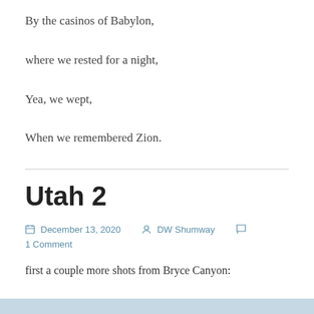By the casinos of Babylon,
where we rested for a night,
Yea, we wept,
When we remembered Zion.
Utah 2
December 13, 2020  DW Shumway  1 Comment
first a couple more shots from Bryce Canyon: